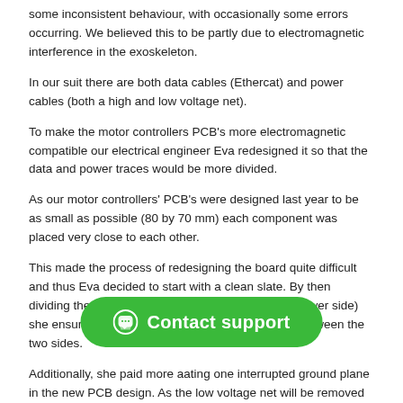some inconsistent behaviour, with occasionally some errors occurring. We believed this to be partly due to electromagnetic interference in the exoskeleton.
In our suit there are both data cables (Ethercat) and power cables (both a high and low voltage net).
To make the motor controllers PCB's more electromagnetic compatible our electrical engineer Eva redesigned it so that the data and power traces would be more divided.
As our motor controllers' PCB's were designed last year to be as small as possible (80 by 70 mm) each component was placed very close to each other.
This made the process of redesigning the board quite difficult and thus Eva decided to start with a clean slate. By then dividing the board in two sides (a data side and a power side) she ensured that there would be less interference between the two sides.
Additionally, she paid more a[...] ating one interrupted ground plane in the new PCB design. As the low voltage net will be removed from the exoskeleton, the